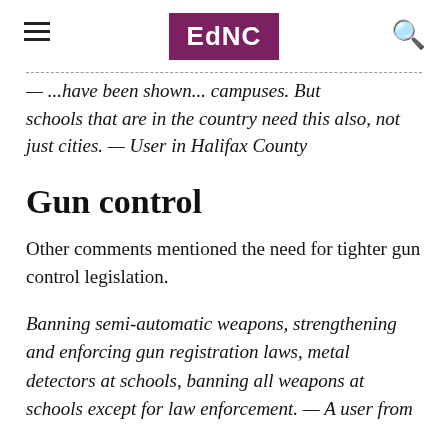EdNC
— ...have been shown... campuses. But schools that are in the country need this also, not just cities. — User in Halifax County
Gun control
Other comments mentioned the need for tighter gun control legislation.
Banning semi-automatic weapons, strengthening and enforcing gun registration laws, metal detectors at schools, banning all weapons at schools except for law enforcement. — A user from ...